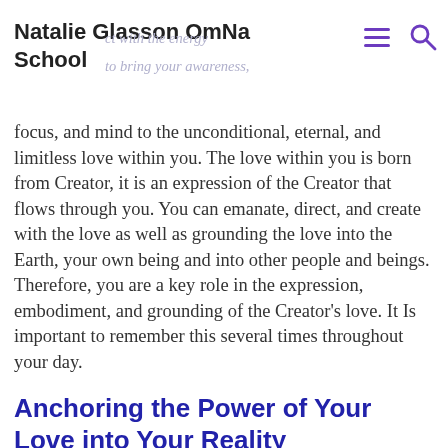Natalie Glasson OmNa School
focus, and mind to the unconditional, eternal, and limitless love within you. The love within you is born from Creator, it is an expression of the Creator that flows through you. You can emanate, direct, and create with the love as well as grounding the love into the Earth, your own being and into other people and beings. Therefore, you are a key role in the expression, embodiment, and grounding of the Creator’s love. It Is important to remember this several times throughout your day.
Anchoring the Power of Your Love into Your Reality
We, the Venus Beings, invite you to think of a